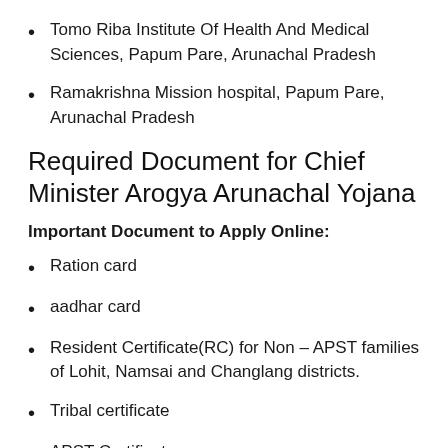Tomo Riba Institute Of Health And Medical Sciences, Papum Pare, Arunachal Pradesh
Ramakrishna Mission hospital, Papum Pare, Arunachal Pradesh
Required Document for Chief Minister Arogya Arunachal Yojana
Important Document to Apply Online:
Ration card
aadhar card
Resident Certificate(RC) for Non – APST families of Lohit, Namsai and Changlang districts.
Tribal certificate
APST Certificate